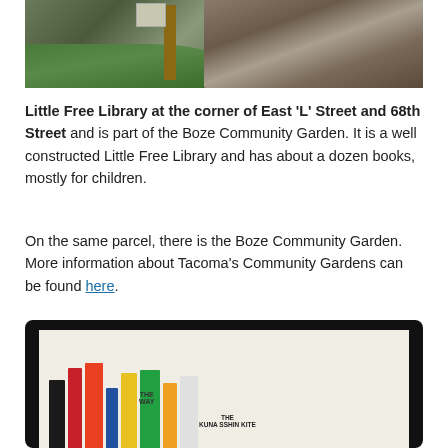[Figure (photo): Outdoor photo showing a Little Free Library sign post with rocks and green vegetation/grass in the background]
Little Free Library at the corner of East ‘L’ Street and 68th Street and is part of the Boze Community Garden. It is a well constructed Little Free Library and has about a dozen books, mostly for children.
On the same parcel, there is the Boze Community Garden. More information about Tacoma’s Community Gardens can be found here.
[Figure (photo): Interior photo of a Little Free Library box showing several children's books on a shelf, including colorful titles]